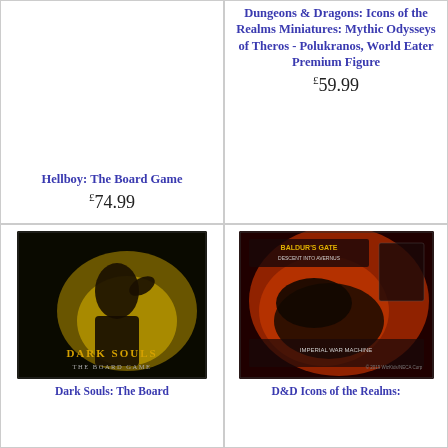Hellboy: The Board Game
£74.99
Dungeons & Dragons: Icons of the Realms Miniatures: Mythic Odysseys of Theros - Polukranos, World Eater Premium Figure
£59.99
[Figure (photo): Dark Souls: The Board Game box art featuring a dark warrior against a yellow glow]
Dark Souls: The Board Game
[Figure (photo): Baldur's Gate: Descent into Avernus box featuring dark demonic imagery on red/orange background]
D&D Icons of the Realms: